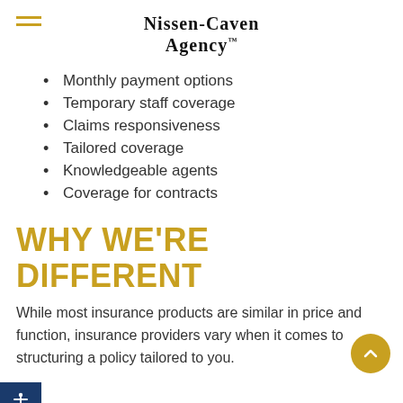Nissen-Caven Agency
Monthly payment options
Temporary staff coverage
Claims responsiveness
Tailored coverage
Knowledgeable agents
Coverage for contracts
WHY WE'RE DIFFERENT
While most insurance products are similar in price and function, insurance providers vary when it comes to structuring a policy tailored to you.
fter all, there's no such thing as a one-size-fits-all